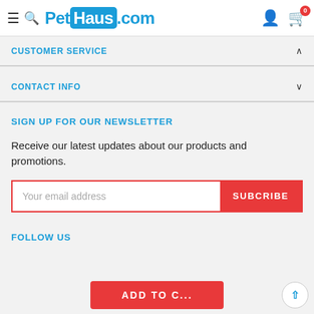[Figure (logo): PetHaus.com logo with hamburger menu and search icon on left, user and cart icons on right]
CUSTOMER SERVICE
CONTACT INFO
SIGN UP FOR OUR NEWSLETTER
Receive our latest updates about our products and promotions.
Your email address
FOLLOW US
ADD TO C...